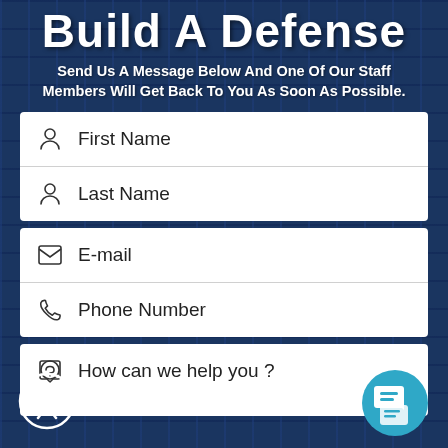Build A Defense
Send Us A Message Below And One Of Our Staff Members Will Get Back To You As Soon As Possible.
First Name
Last Name
E-mail
Phone Number
How can we help you ?